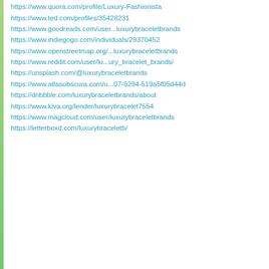https://www.quora.com/profile/Luxury-Fashionista
https://www.ted.com/profiles/35428231
https://www.goodreads.com/user...luxurybraceletbrands
https://www.indiegogo.com/individuals/29370452
https://www.openstreetmap.org/...luxurybraceletbrands
https://www.reddit.com/user/lu...ury_bracelet_brands/
https://unsplash.com/@luxurybraceletbrands
https://www.atlasobscura.com/u...07-9294-519a5f05d44d
https://dribbble.com/luxurybraceletbrands/about
https://www.kiva.org/lender/luxurybracelet7554
https://www.magcloud.com/user/luxurybraceletbrands
https://letterboxd.com/luxurybraceletb/